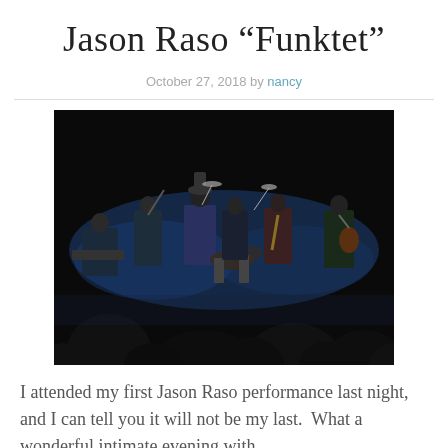Jason Raso “Funktet”
October 27, 2018 by nancy
[Figure (photo): Concert photo of Jason Raso Funktet performing on a dark stage with blue lighting, showing multiple musicians including keyboard, bass, drums, saxophone, and guitar players, with silhouetted audience members in the foreground.]
I attended my first Jason Raso performance last night, and I can tell you it will not be my last.  What a wonderful intimate evening with...